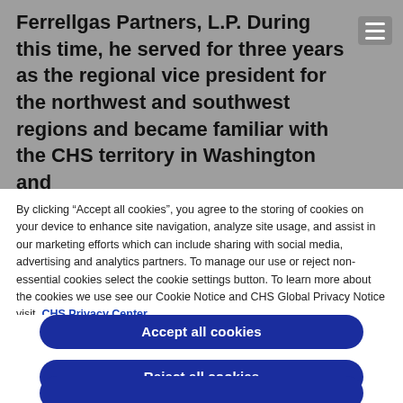Ferrellgas Partners, L.P. During this time, he served for three years as the regional vice president for the northwest and southwest regions and became familiar with the CHS territory in Washington and
By clicking “Accept all cookies”, you agree to the storing of cookies on your device to enhance site navigation, analyze site usage, and assist in our marketing efforts which can include sharing with social media, advertising and analytics partners. To manage our use or reject non-essential cookies select the cookie settings button. To learn more about the cookies we use see our Cookie Notice and CHS Global Privacy Notice visit CHS Privacy Center.
Accept all cookies
Reject all cookies